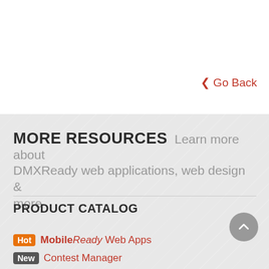‹ Go Back
MORE RESOURCES Learn more about DMXReady web applications, web design & more
PRODUCT CATALOG
Hot MobileReady Web Apps
New Contest Manager